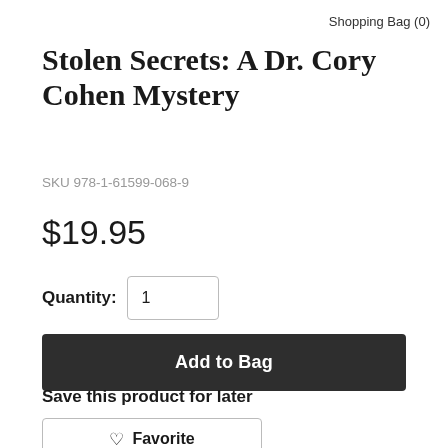Shopping Bag (0)
Stolen Secrets: A Dr. Cory Cohen Mystery
SKU 978-1-61599-068-9
$19.95
Quantity: 1
Add to Bag
Save this product for later
Favorite